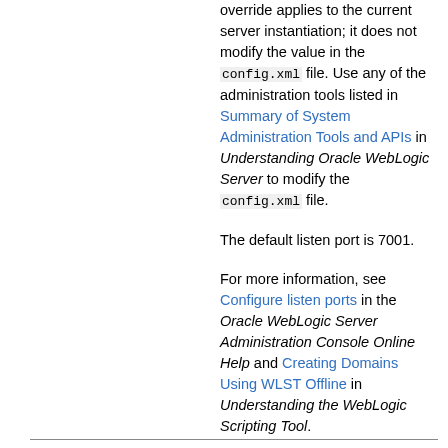override applies to the current server instantiation; it does not modify the value in the config.xml file. Use any of the administration tools listed in Summary of System Administration Tools and APIs in Understanding Oracle WebLogic Server to modify the config.xml file.
The default listen port is 7001.
For more information, see Configure listen ports in the Oracle WebLogic Server Administration Console Online Help and Creating Domains Using WLST Offline in Understanding the WebLogic Scripting Tool.